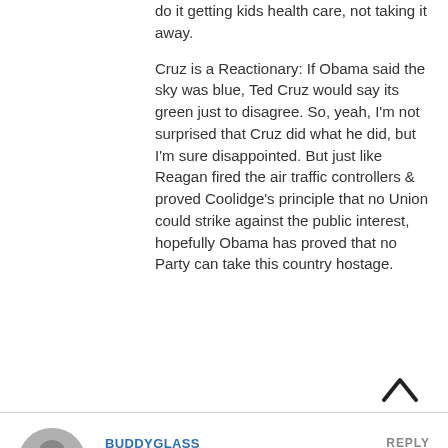do it getting kids health care, not taking it away.
Cruz is a Reactionary: If Obama said the sky was blue, Ted Cruz would say its green just to disagree. So, yeah, I'm not surprised that Cruz did what he did, but I'm sure disappointed. But just like Reagan fired the air traffic controllers & proved Coolidge's principle that no Union could strike against the public interest, hopefully Obama has proved that no Party can take this country hostage.
BUDDYGLASS
REPLY